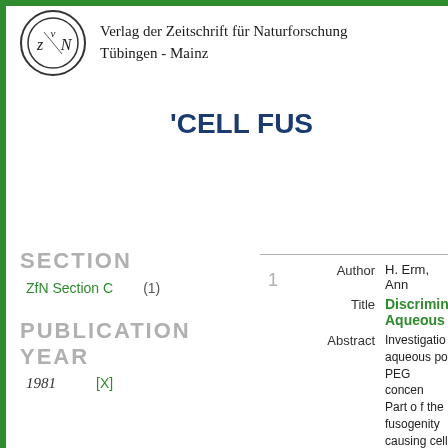[Figure (logo): ZfN circular logo with stylized VzN letters inside a circle]
Verlag der Zeitschrift für Naturforschung
Tübingen - Mainz
'CELL FUS...
SECTION
ZfN Section C    (1)
PUBLICATION YEAR
1981    [X]
1    Author  H. Erm, Ann...
Title  Discrimin... Aqueous...
Abstract  Investigation... aqueous po... PEG concen... Part o f the... fusogenity... causing cell...